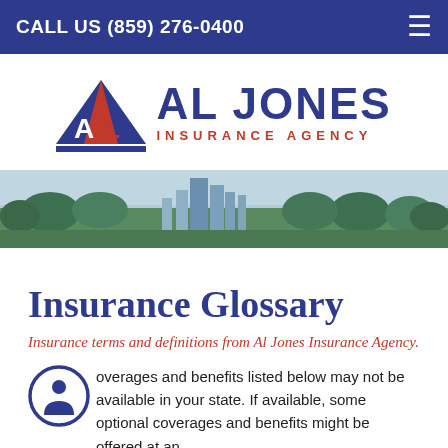CALL US (859) 276-0400
[Figure (logo): Al Jones Insurance Agency logo with red and blue triangle/mountain graphic and bold text]
[Figure (photo): Aerial cityscape photo showing a city with buildings and trees]
Insurance Glossary
Insurance terms and definitions from Al Jones Insurance Agency.
Coverages and benefits listed below may not be available in your state. If available, some optional coverages and benefits might be offered at an